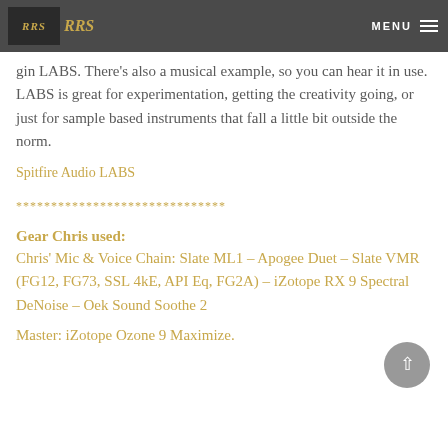RRS — MENU
gin LABS. There's also a musical example, so you can hear it in use. LABS is great for experimentation, getting the creativity going, or just for sample based instruments that fall a little bit outside the norm.
Spitfire Audio LABS
******************************
Gear Chris used:
Chris' Mic & Voice Chain: Slate ML1 – Apogee Duet – Slate VMR (FG12, FG73, SSL 4kE, API Eq, FG2A) – iZotope RX 9 Spectral DeNoise – Oek Sound Soothe 2
Master: iZotope Ozone 9 Maximize.